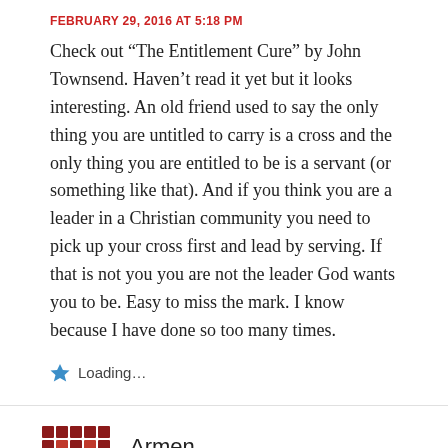FEBRUARY 29, 2016 AT 5:18 PM
Check out “The Entitlement Cure” by John Townsend. Haven’t read it yet but it looks interesting. An old friend used to say the only thing you are untitled to carry is a cross and the only thing you are entitled to be is a servant (or something like that). And if you think you are a leader in a Christian community you need to pick up your cross first and lead by serving. If that is not you you are not the leader God wants you to be. Easy to miss the mark. I know because I have done so too many times.
Loading...
Armen Gakavian
Log in to Reply
APRIL 1, 2016 AT 1:39 PM